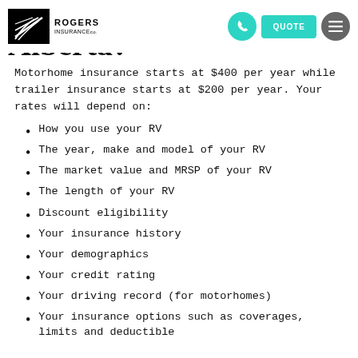Rogers Insurance - QUOTE
Alberta?
Motorhome insurance starts at $400 per year while trailer insurance starts at $200 per year. Your rates will depend on:
How you use your RV
The year, make and model of your RV
The market value and MRSP of your RV
The length of your RV
Discount eligibility
Your insurance history
Your demographics
Your credit rating
Your driving record (for motorhomes)
Your insurance options such as coverages, limits and deductible